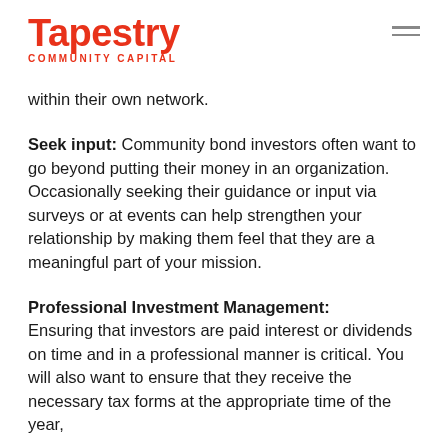Tapestry COMMUNITY CAPITAL
within their own network.
Seek input: Community bond investors often want to go beyond putting their money in an organization. Occasionally seeking their guidance or input via surveys or at events can help strengthen your relationship by making them feel that they are a meaningful part of your mission.
Professional Investment Management: Ensuring that investors are paid interest or dividends on time and in a professional manner is critical. You will also want to ensure that they receive the necessary tax forms at the appropriate time of the year,